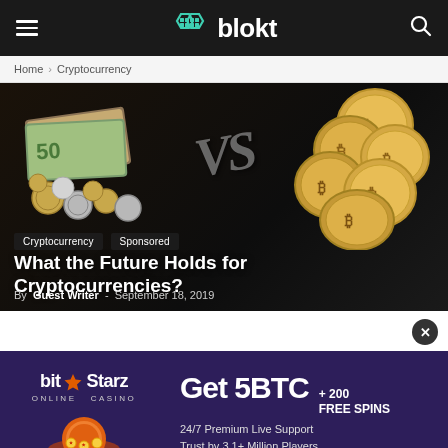blokt
Home › Cryptocurrency
[Figure (photo): Hero image showing physical coins (Euros and Bitcoin tokens) on dark background with chalk VS text, overlaid with article title tags, headline and byline]
What the Future Holds for Cryptocurrencies?
By Guest Writer - September 18, 2019
[Figure (infographic): BitStarz Online Casino advertisement banner: Get 5BTC + 200 Free Spins, 24/7 Premium Live Support, Trust by 3.1+ Million Players]